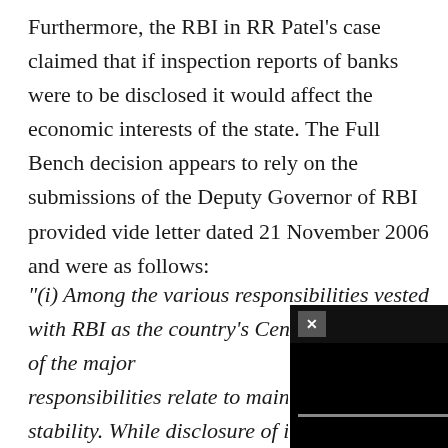Furthermore, the RBI in RR Patel's case claimed that if inspection reports of banks were to be disclosed it would affect the economic interests of the state. The Full Bench decision appears to rely on the submissions of the Deputy Governor of RBI provided vide letter dated 21 November 2006 and were as follows:
"(i) Among the various responsibilities vested with RBI as the country's Central Bank, one of the major responsibilities relate to main[taining financial] stability. While disclosure of i[nformation] would reinforce public trust i[n the system,] disclosure of certain information can adversely affect